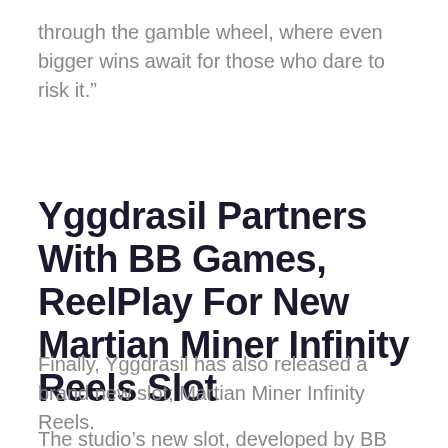through the gamble wheel, where even bigger wins await for those who dare to risk it.”
Yggdrasil Partners With BB Games, ReelPlay For New Martian Miner Infinity Reels Slot
Finally, Yggdrasil has also released a brand new slot; Martian Miner Infinity Reels.
The studio’s new slot, developed by BB